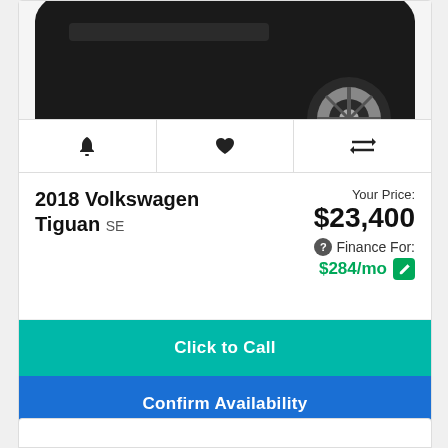[Figure (photo): Partial view of a dark-colored Volkswagen Tiguan SUV, showing the front/top portion with alloy wheel visible.]
🔔  ♥  ⇄
2018 Volkswagen Tiguan SE
Your Price: $23,400
Finance For: $284/mo
Click to Call
Confirm Availability
Stock: 3VT8419B VIN: 3VV3B7AX3JM030976 Miles: 58861 Color: Cardinal Red Metallic